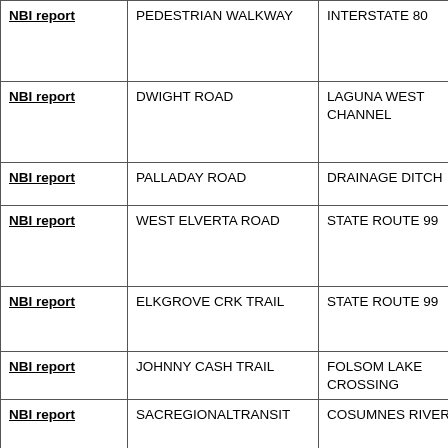| NBI report | PEDESTRIAN WALKWAY | INTERSTATE 80 |
| NBI report | DWIGHT ROAD | LAGUNA WEST CHANNEL |
| NBI report | PALLADAY ROAD | DRAINAGE DITCH |
| NBI report | WEST ELVERTA ROAD | STATE ROUTE 99 |
| NBI report | ELKGROVE CRK TRAIL | STATE ROUTE 99 |
| NBI report | JOHNNY CASH TRAIL | FOLSOM LAKE CROSSING |
| NBI report | SACREGIONALTRANSIT | COSUMNES RIVER BLVD |
| NBI report | COSUMNES RIV BLVD | INTERSTATE 5 |